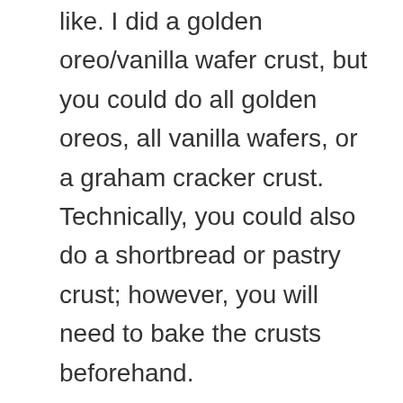like. I did a golden oreo/vanilla wafer crust, but you could do all golden oreos, all vanilla wafers, or a graham cracker crust. Technically, you could also do a shortbread or pastry crust; however, you will need to bake the crusts beforehand.
Definitely use fresh lemon juice and lemon zest. Lemon extract will not give the same fresh and bright flavor. You will need a lot of lemon zest for this recipe, but it is well worth it! The zest gives